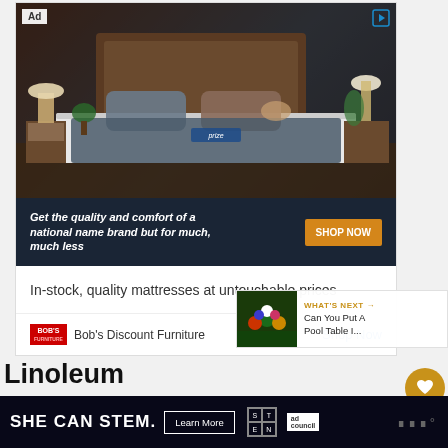[Figure (photo): Advertisement for Bob's Discount Furniture showing a bedroom with a mattress, dark wood headboard, pillows, and nightstand. Banner text: 'Get the quality and comfort of a national name brand but for much, much less' with orange 'SHOP NOW' button.]
In-stock, quality mattresses at untouchable prices
Bob's Discount Furniture   Shop Now
[Figure (infographic): What's Next section showing billiard balls on a pool table with text: 'WHAT'S NEXT → Can You Put A Pool Table I...']
Linoleum
[Figure (infographic): Bottom advertisement banner: 'SHE CAN STEM. Learn More' with STEM logo and Ad Council logo on dark background.]